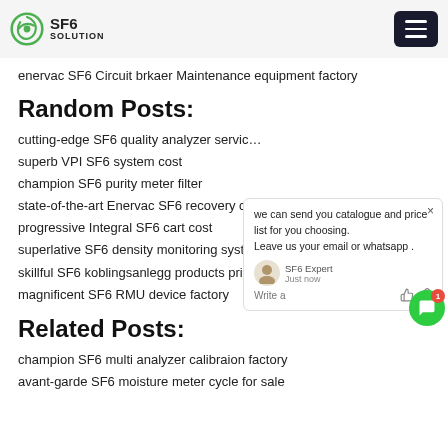SF6 SOLUTION
enervac SF6 Circuit brkaer Maintenance equipment factory
Random Posts:
cutting-edge SF6 quality analyzer servic…
superb VPI SF6 system cost
champion SF6 purity meter filter
state-of-the-art Enervac SF6 recovery co…
progressive Integral SF6 cart cost
superlative SF6 density monitoring syste… price
skillful SF6 koblingsanlegg products price
magnificent SF6 RMU device factory
Related Posts:
champion SF6 multi analyzer calibraion factory
avant-garde SF6 moisture meter cycle for sale